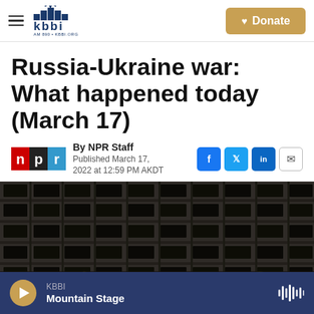KBBI AM 890 | KBBI.ORG Homer Alaska — Navigation and Donate button
Russia-Ukraine war: What happened today (March 17)
By NPR Staff
Published March 17, 2022 at 12:59 PM AKDT
[Figure (photo): Destroyed/burnt-out building facade with rows of blown-out windows, black and grey rubble, war damage imagery]
KBBI Mountain Stage — audio player bar